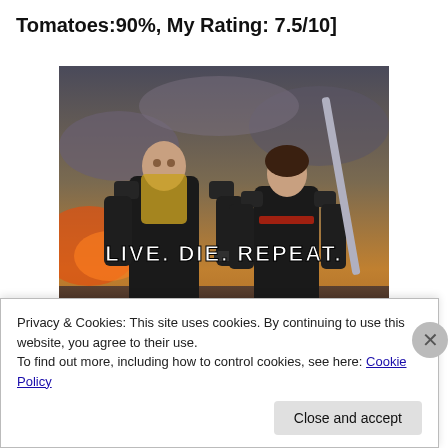Tomatoes:90%, My Rating: 7.5/10]
[Figure (photo): Movie poster for 'Edge of Tomorrow' (Live. Die. Repeat.) featuring Tom Cruise and Emily Blunt in military exoskeleton suits against a dramatic battle background. Text on poster reads: LIVE. DIE. REPEAT. TOM CRUISE  EMILY BLUNT]
Privacy & Cookies: This site uses cookies. By continuing to use this website, you agree to their use.
To find out more, including how to control cookies, see here: Cookie Policy
Close and accept